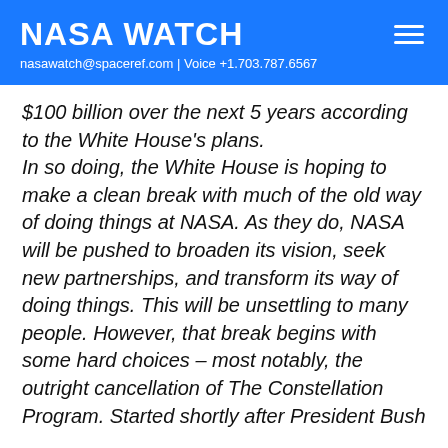NASA WATCH
nasawatch@spaceref.com | Voice +1.703.787.6567
$100 billion over the next 5 years according to the White House's plans. In so doing, the White House is hoping to make a clean break with much of the old way of doing things at NASA. As they do, NASA will be pushed to broaden its vision, seek new partnerships, and transform its way of doing things. This will be unsettling to many people. However, that break begins with some hard choices – most notably, the outright cancellation of The Constellation Program. Started shortly after President Bush